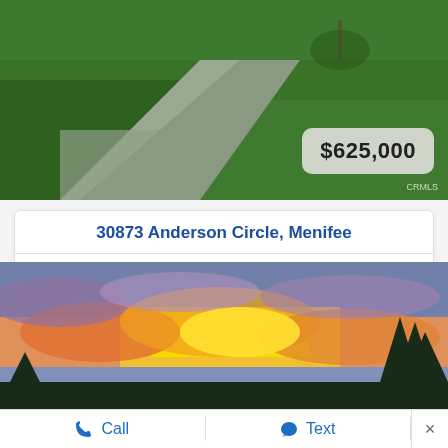[Figure (photo): Aerial view of a green lawn with a concrete sidewalk/driveway]
30873 Anderson Circle, Menifee
4 BEDS  3 BATHS  SW22187185 MLS  2,810 SQFT.
Add to Favorites
Request Info
[Figure (photo): Dramatic sunset sky with orange, yellow, and purple clouds and silhouetted trees]
Call
Text